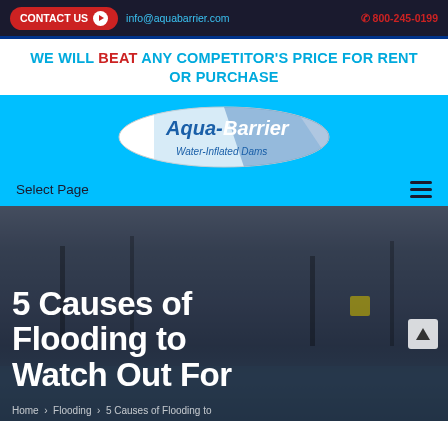CONTACT US  info@aquabarrier.com  800-245-0199
WE WILL BEAT ANY COMPETITOR'S PRICE FOR RENT OR PURCHASE
[Figure (logo): Aqua-Barrier Water-Inflated Dams oval logo on sky-blue background]
Select Page
5 Causes of Flooding to Watch Out For
Home > Flooding > 5 Causes of Flooding to